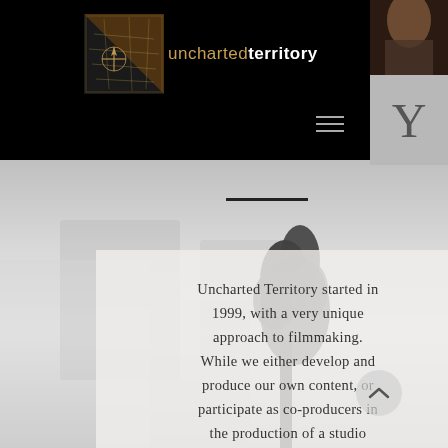[Figure (screenshot): Website header with black navigation bar, logo showing 'uncharted territory' in gold and white text with a map/compass image, hamburger menu icon, and partial images on the right side including a person's shoulder and the letter Y on a gray background.]
[Figure (photo): Grayscale background photo showing an outdoor winter or overcast scene with a dark tree/plant silhouette visible on the right side. A short black horizontal divider line appears near the top of this section.]
Uncharted Territory started in 1999, with a very unique approach to filmmaking. While we either develop and produce our own content, or participate as co-producers in the production of a studio project, for each movie we are creating a visual effects